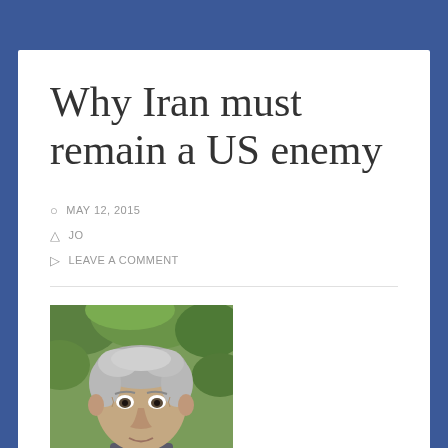Why Iran must remain a US enemy
MAY 12, 2015
JO
LEAVE A COMMENT
[Figure (photo): Photo of a middle-aged man with grey hair, looking directly at camera, with green foliage in background]